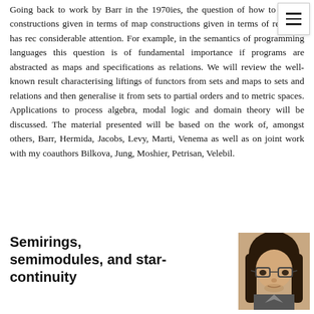Going back to work by Barr in the 1970ies, the question of how to extend constructions given in terms of maps to constructions given in terms of relations has received considerable attention. For example, in the semantics of programming languages this question is of fundamental importance if programs are abstracted as maps and specifications as relations. We will review the well-known result characterising liftings of functors from sets and maps to sets and relations and then generalise it from sets to partial orders and to metric spaces. Applications to process algebra, modal logic and domain theory will be discussed. The material presented will be based on the work of, amongst others, Barr, Hermida, Jacobs, Levy, Marti, Venema as well as on joint work with my coauthors Bilkova, Jung, Moshier, Petrisan, Velebil.
Semirings, semimodules, and star-continuity
[Figure (photo): Portrait photo of a person with long dark hair and glasses, appearing to be an academic speaker.]